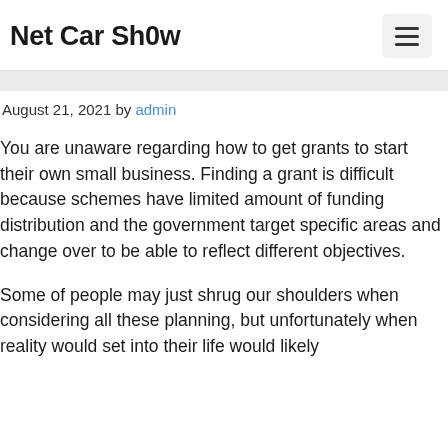Net Car Sh0w
August 21, 2021 by admin
You are unaware regarding how to get grants to start their own small business. Finding a grant is difficult because schemes have limited amount of funding distribution and the government target specific areas and change over to be able to reflect different objectives.
Some of people may just shrug our shoulders when considering all these planning, but unfortunately when reality would set into their life would likely